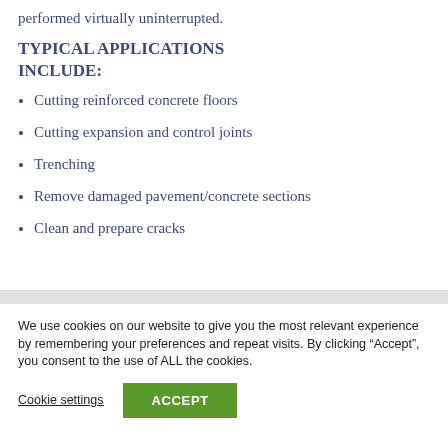performed virtually uninterrupted.
TYPICAL APPLICATIONS INCLUDE:
Cutting reinforced concrete floors
Cutting expansion and control joints
Trenching
Remove damaged pavement/concrete sections
Clean and prepare cracks
We use cookies on our website to give you the most relevant experience by remembering your preferences and repeat visits. By clicking “Accept”, you consent to the use of ALL the cookies.
Cookie settings   ACCEPT